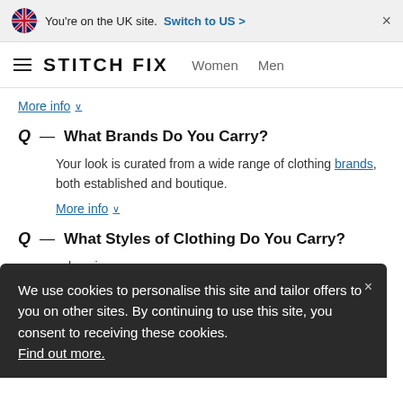You're on the UK site. Switch to US >
STITCH FIX   Women   Men
More info ∨
What Brands Do You Carry?
Your look is curated from a wide range of clothing brands, both established and boutique.
More info ∨
What Styles of Clothing Do You Carry?
...lay pieces so ...it. ...styling
We use cookies to personalise this site and tailor offers to you on other sites. By continuing to use this site, you consent to receiving these cookies. Find out more.